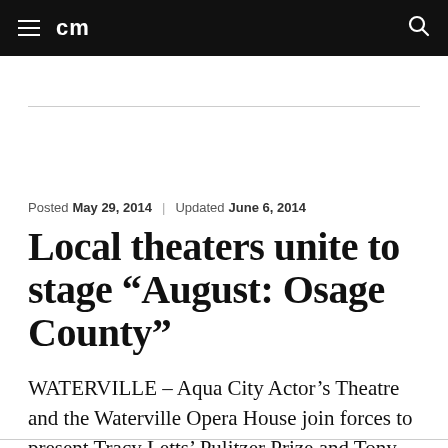cm
Posted May 29, 2014 | Updated June 6, 2014
Local theaters unite to stage “August: Osage County”
WATERVILLE – Aqua City Actor’s Theatre and the Waterville Opera House join forces to present Tracy Letts’ Pulitzer Prize and Tony